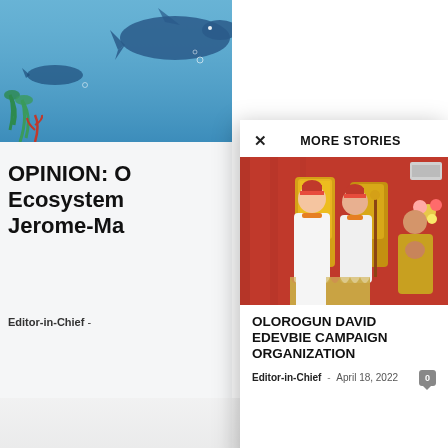[Figure (illustration): Ocean/underwater illustration with blue whale and marine plants, used as background image for left article]
OPINION: O Ecosystem Jerome-Ma
Editor-in-Chief -
✕  MORE STORIES
[Figure (photo): Ceremonial photo showing Nigerian traditional rulers in white and red attire seated on ornate golden thrones, with a man in gold bowing before them. Red curtain background with flowers.]
OLOROGUN DAVID EDEVBIE CAMPAIGN ORGANIZATION
Editor-in-Chief  -  April 18, 2022